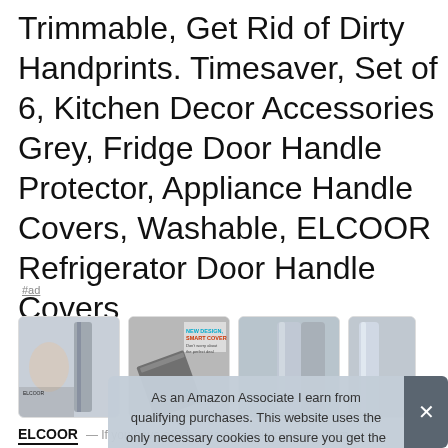Trimmable, Get Rid of Dirty Handprints. Timesaver, Set of 6, Kitchen Decor Accessories Grey, Fridge Door Handle Protector, Appliance Handle Covers, Washable, ELCOOR Refrigerator Door Handle Covers
#ad
[Figure (photo): Row of four product thumbnail images showing fridge handle covers]
As an Amazon Associate I earn from qualifying purchases. This website uses the only necessary cookies to ensure you get the best experience on our website. More information
ELCOOR — If you have any issues or problems using them,